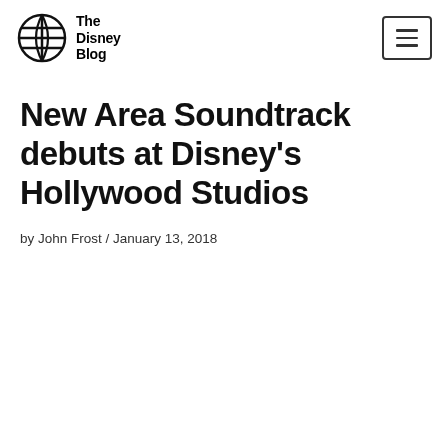The Disney Blog
New Area Soundtrack debuts at Disney's Hollywood Studios
by John Frost / January 13, 2018